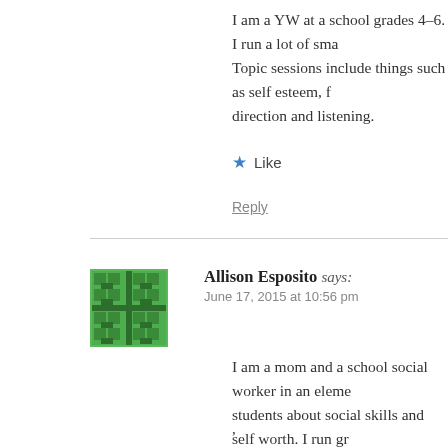I am a YW at a school grades 4-6. I run a lot of sma… Topic sessions include things such as self esteem, f… direction and listening.
★ Like
Reply
Allison Esposito says:
June 17, 2015 at 10:56 pm
I am a mom and a school social worker in an eleme… students about social skills and self worth. I run gr… struggle in these areas. I also try to teach my son h… empathy for others .
,
★ Like
Reply